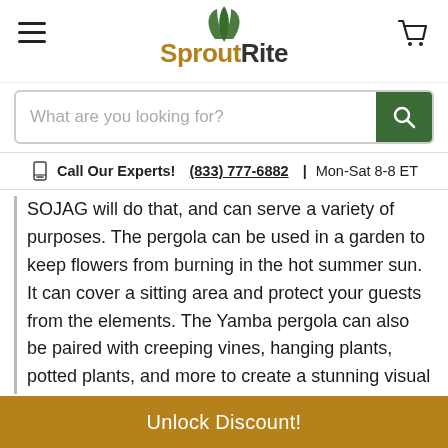[Figure (logo): SproutRite logo with green leaf icon above stylized text. 'Sprout' in golden-brown, 'Rite' in dark gray.]
What are you looking for?
Call Our Experts! (833) 777-6882 | Mon-Sat 8-8 ET
SOJAG will do that, and can serve a variety of purposes. The pergola can be used in a garden to keep flowers from burning in the hot summer sun. It can cover a sitting area and protect your guests from the elements. The Yamba pergola can also be paired with creeping vines, hanging plants, potted plants, and more to create a stunning visual effect. No matter how you use a pergola, it will transform your outdoor space into a beautiful oasis.
Unlock Discount!